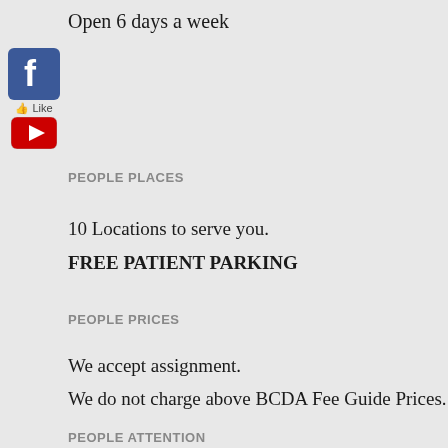Open 6 days a week
[Figure (logo): Facebook logo icon with blue background and white 'f']
Like
[Figure (logo): YouTube logo icon with red background and white play button]
PEOPLE PLACES
10 Locations to serve you.
FREE PATIENT PARKING
PEOPLE PRICES
We accept assignment.
We do not charge above BCDA Fee Guide Prices.
PEOPLE ATTENTION
You will see the same dentist for all your visits.